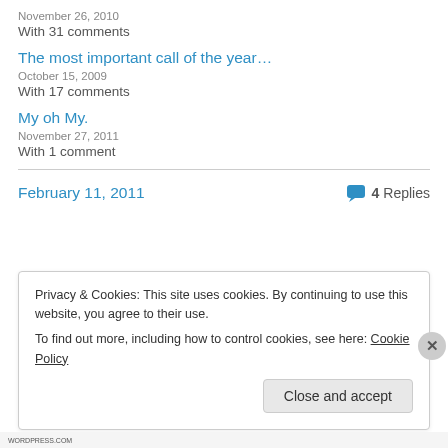November 26, 2010
With 31 comments
The most important call of the year…
October 15, 2009
With 17 comments
My oh My.
November 27, 2011
With 1 comment
February 11, 2011
4 Replies
Privacy & Cookies: This site uses cookies. By continuing to use this website, you agree to their use. To find out more, including how to control cookies, see here: Cookie Policy
Close and accept